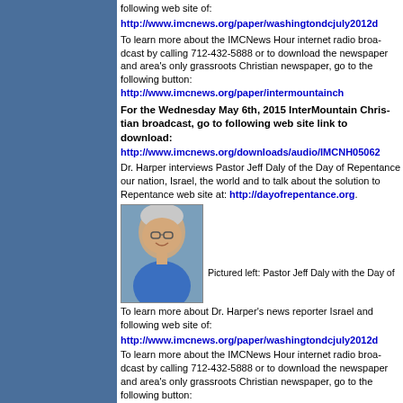following web site of:
http://www.imcnews.org/paper/washingtondcjuly2012d
To learn more about the IMCNews Hour internet radio broadcast by calling 712-432-5888 or to download the newspaper and area's only grassroots Christian newspaper, go to the following button: http://www.imcnews.org/paper/intermountainch
For the Wednesday May 6th, 2015 InterMountain Christian broadcast, go to following web site link to download:
http://www.imcnews.org/downloads/audio/IMCNH05062
Dr. Harper interviews Pastor Jeff Daly of the Day of Repentance our nation, Israel, the world and to talk about the solution to Repentance web site at: http://dayofrepentance.org.
[Figure (photo): Photo of Pastor Jeff Daly, a man with glasses smiling, wearing a blue shirt, outdoors.]
Pictured left: Pastor Jeff Daly with the Day of
To learn more about Dr. Harper's news reporter Israel and following web site of:
http://www.imcnews.org/paper/washingtondcjuly2012d
To learn more about the IMCNews Hour internet radio broadcast by calling 712-432-5888 or to download the newspaper and area's only grassroots Christian newspaper, go to the following button: http://www.imcnews.org/paper/intermountainch
For the Tuesday May 5th, 2015 InterMountain Christian go to following web site link to download:
http://www.imcnews.org/downloads/audio/IMCNH05052
Dr. Harper interviews David Crowe with Restore America to the survival of America and Israel and our world. More info http://restoreamerica.org